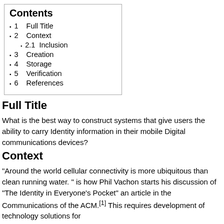Contents
1  Full Title
2  Context
2.1  Inclusion
3  Creation
4  Storage
5  Verification
6  References
Full Title
What is the best way to construct systems that give users the ability to carry Identity information in their mobile Digital communications devices?
Context
"Around the world cellular connectivity is more ubiquitous than clean running water. " is how Phil Vachon starts his discussion of "The Identity in Everyone's Pocket" an article in the Communications of the ACM.[1] This requires development of technology solutions for